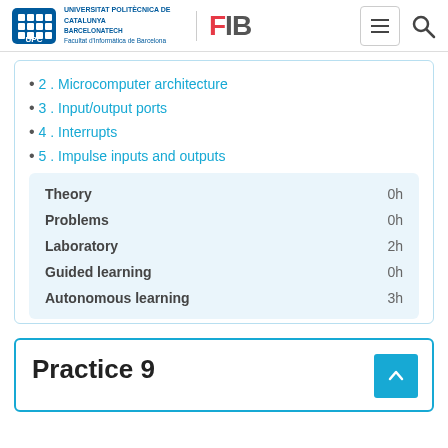Universitat Politècnica de Catalunya BarcelonaTech – Facultat d'Informàtica de Barcelona – FIB
2 . Microcomputer architecture
3 . Input/output ports
4 . Interrupts
5 . Impulse inputs and outputs
|  |  |
| --- | --- |
| Theory | 0h |
| Problems | 0h |
| Laboratory | 2h |
| Guided learning | 0h |
| Autonomous learning | 3h |
Practice 9